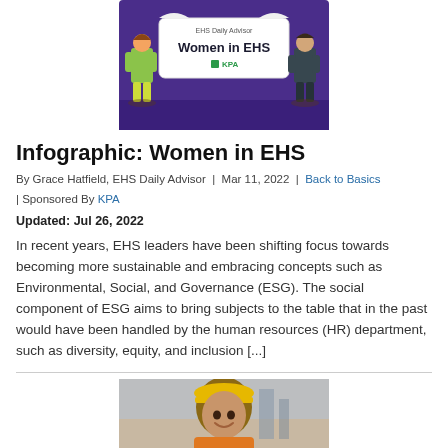[Figure (illustration): EHS Daily Advisor 'Women in EHS' banner illustration with two illustrated figures — a woman in work clothes on the left and a man in a suit on the right — holding a sign that reads 'Women in EHS', with KPA logo below.]
Infographic: Women in EHS
By Grace Hatfield, EHS Daily Advisor | Mar 11, 2022 | Back to Basics | Sponsored By KPA
Updated: Jul 26, 2022
In recent years, EHS leaders have been shifting focus towards becoming more sustainable and embracing concepts such as Environmental, Social, and Governance (ESG). The social component of ESG aims to bring subjects to the table that in the past would have been handled by the human resources (HR) department, such as diversity, equity, and inclusion [...]
[Figure (photo): A woman wearing a yellow hard hat and work attire smiling at the camera in what appears to be an industrial or construction setting.]